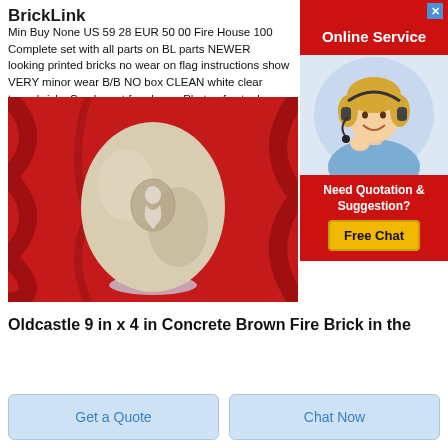BrickLink
Min Buy None US 59 28 EUR 50 00 Fire House 100 Complete set with all parts on BL parts NEWER looking printed bricks no wear on flag instructions show VERY minor wear B/B NO box CLEAN white clear trans bricks Smoke pet free home Photo of actual items
[Figure (photo): Advertisement panel: Red header with 'Online Service', woman with headset, red bottom section with 'Need Quotation & Suggestion?' text and yellow 'Free Chat' button]
[Figure (photo): Photo of an egg-shaped ceramic or stone object in beige/tan color with a small logo on it, sitting on a clear glass base, against a red fabric background]
Oldcastle 9 in x 4 in Concrete Brown Fire Brick in the
Get a Quote
Chat Now